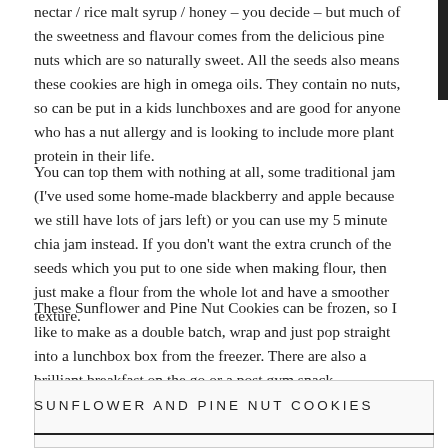nectar / rice malt syrup / honey – you decide – but much of the sweetness and flavour comes from the delicious pine nuts which are so naturally sweet. All the seeds also means these cookies are high in omega oils. They contain no nuts, so can be put in a kids lunchboxes and are good for anyone who has a nut allergy and is looking to include more plant protein in their life.
You can top them with nothing at all, some traditional jam (I've used some home-made blackberry and apple because we still have lots of jars left) or you can use my 5 minute chia jam instead. If you don't want the extra crunch of the seeds which you put to one side when making flour, then just make a flour from the whole lot and have a smoother texture.
These Sunflower and Pine Nut Cookies can be frozen, so I like to make as a double batch, wrap and just pop straight into a lunchbox box from the freezer. There are also a brilliant breakfast on the go or a post gym snack.
SUNFLOWER AND PINE NUT COOKIES